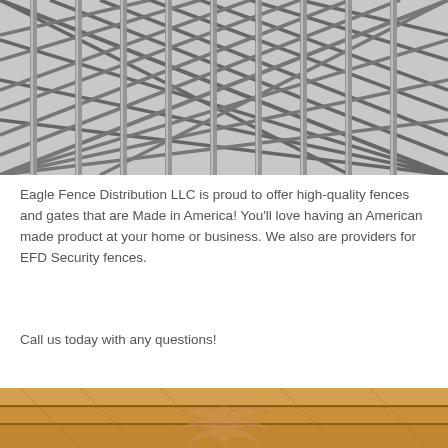[Figure (photo): Close-up black and white photo of metal chain-link or woven wire security fence/mesh with diagonal crossing wires between vertical bars]
Eagle Fence Distribution LLC is proud to offer high-quality fences and gates that are Made in America! You’ll love having an American made product at your home or business. We also are providers for EFD Security fences.
Call us today with any questions!
[Figure (photo): Photo of wooden planks/boards surface with a semi-transparent eagle logo watermark (wings spread, eagle head) overlaid in a copper/bronze color]